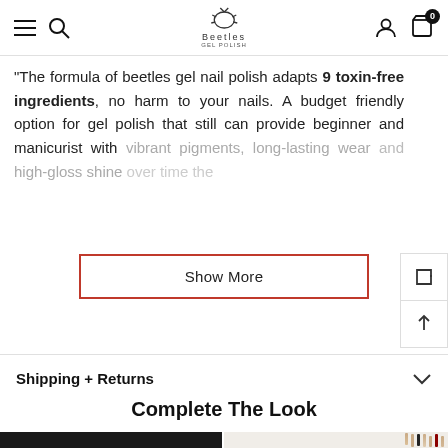Beetles gel nail polish website navigation header
"The formula of beetles gel nail polish adapts 9 toxin-free ingredients, no harm to your nails. A budget friendly option for gel polish that still can provide beginner and manicurist with vibrant pigments, long-lasting wear and high-gloss shine over time the
Show More
Shipping + Returns
Complete The Look
[Figure (photo): Product image on dark background showing nail tools]
[Figure (photo): Nail polish brushes/tools on light background]